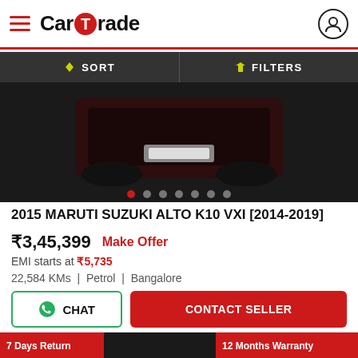CarTrade
SORT   FILTERS
[Figure (photo): Car rear bumper view against dark background with image carousel dots]
2015 MARUTI SUZUKI ALTO K10 VXI [2014-2019]
₹3,45,399   Make Offer
EMI starts at ₹5,735
22,584 KMs  |  Petrol  |  Bangalore
CHAT   CONTACT SELLER
[Figure (photo): Car roof view from above, dark background, with 7 Days Return and 12 Months Warranty badges]